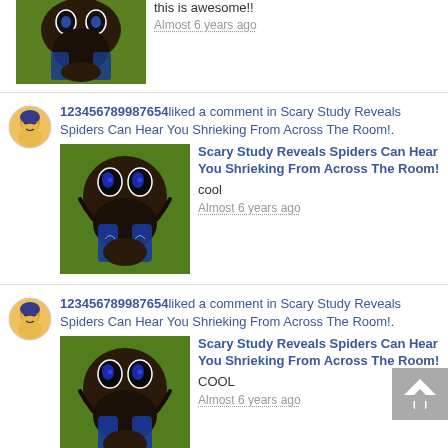[Figure (screenshot): Social media feed showing repeated activity notifications: user 123456789987654 liked a comment in 'Scary Study Reveals Spiders Can Hear You Shrieking From Across The Room!' with spider close-up images and comments 'this is awesome!!', 'cool', 'COOL'. Each entry shows timestamp 'Almost 6 years ago'. A back-to-top button is visible in the bottom right corner.]